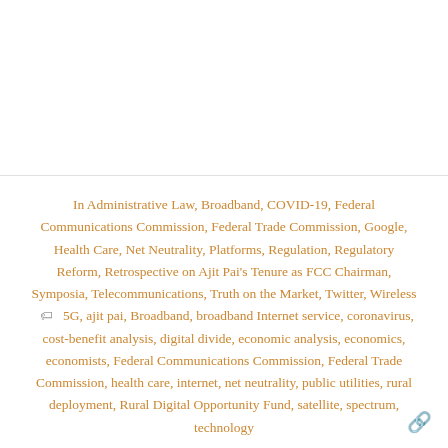In Administrative Law, Broadband, COVID-19, Federal Communications Commission, Federal Trade Commission, Google, Health Care, Net Neutrality, Platforms, Regulation, Regulatory Reform, Retrospective on Ajit Pai's Tenure as FCC Chairman, Symposia, Telecommunications, Truth on the Market, Twitter, Wireless 🏷 5G, ajit pai, Broadband, broadband Internet service, coronavirus, cost-benefit analysis, digital divide, economic analysis, economics, economists, Federal Communications Commission, Federal Trade Commission, health care, internet, net neutrality, public utilities, rural deployment, Rural Digital Opportunity Fund, satellite, spectrum, technology